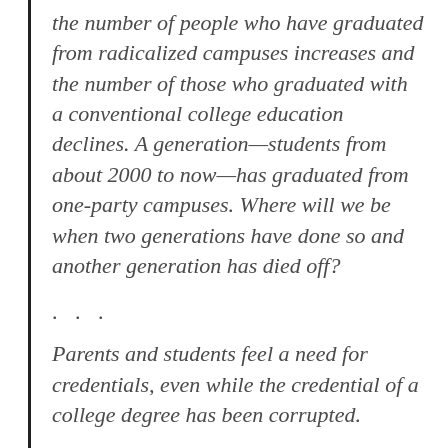the number of people who have graduated from radicalized campuses increases and the number of those who graduated with a conventional college education declines. A generation—students from about 2000 to now—has graduated from one-party campuses. Where will we be when two generations have done so and another generation has died off?
. . .
Parents and students feel a need for credentials, even while the credential of a college degree has been corrupted.